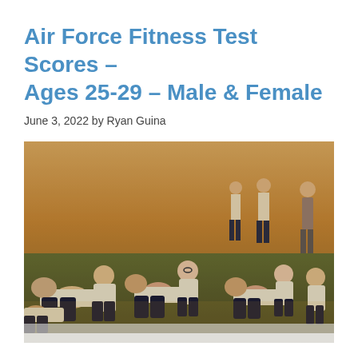Air Force Fitness Test Scores – Ages 25-29 – Male & Female
June 3, 2022 by Ryan Guina
[Figure (photo): Military personnel performing sit-ups on a grass field during a fitness test. Soldiers in white shirts and navy blue shorts are lying down doing sit-ups while partners hold their feet. Multiple groups visible across the field in warm evening light.]